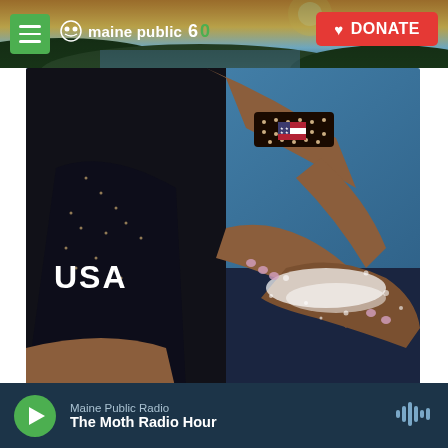maine public 60 | DONATE
[Figure (photo): Close-up photo of a gymnast wearing a USA leotard with American flag wristband, clapping chalk powder from her hands, with a blue background. Text 'USA' visible on the leotard.]
Ashley Landis / AP / AP
Gymnast Simone Biles of the U.S. chalks her hands while training on vault at the Tokyo Olympics.
Maine Public Radio
The Moth Radio Hour